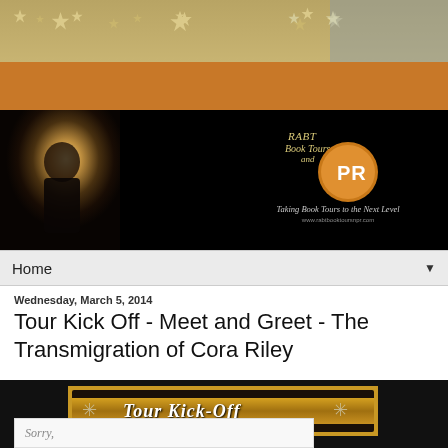[Figure (illustration): Top decorative banner with gold/tan stars pattern on gradient background]
[Figure (illustration): Orange/amber horizontal bar]
[Figure (logo): RABT Book Tours PR logo with tagline 'Taking Book Tours to the Next Level' and website www.rabtbooktoursnpr.com on black background with woman reading book photo]
Home ▼
Wednesday, March 5, 2014
Tour Kick Off - Meet and Greet - The Transmigration of Cora Riley
[Figure (illustration): Tour Kick-Off banner with gold/orange background and star decorations and stylized script text]
[Figure (illustration): Sorry. image placeholder box]